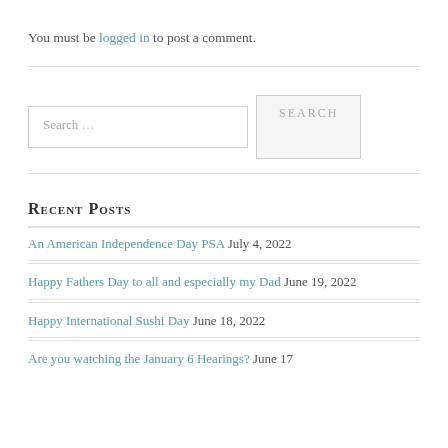You must be logged in to post a comment.
An American Independence Day PSA July 4, 2022
Happy Fathers Day to all and especially my Dad June 19, 2022
Happy International Sushi Day June 18, 2022
Are you watching the January 6 Hearings? June 17